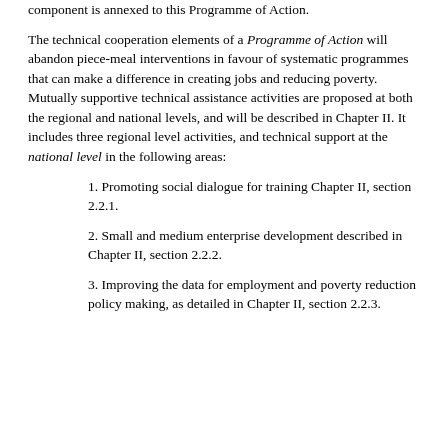component is annexed to this Programme of Action.
The technical cooperation elements of a Programme of Action will abandon piece-meal interventions in favour of systematic programmes that can make a difference in creating jobs and reducing poverty. Mutually supportive technical assistance activities are proposed at both the regional and national levels, and will be described in Chapter II. It includes three regional level activities, and technical support at the national level in the following areas:
1. Promoting social dialogue for training Chapter II, section 2.2.1.
2. Small and medium enterprise development described in Chapter II, section 2.2.2.
3. Improving the data for employment and poverty reduction policy making, as detailed in Chapter II, section 2.2.3.